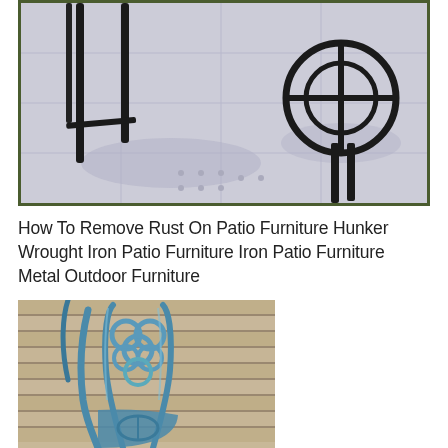[Figure (photo): Close-up photo of dark wrought iron patio furniture legs and chair base on a light-colored tile patio surface, with shadows visible. Dark olive green border around the image.]
How To Remove Rust On Patio Furniture Hunker Wrought Iron Patio Furniture Iron Patio Furniture Metal Outdoor Furniture
[Figure (photo): Close-up photo of a metallic blue-teal painted cast iron or wrought iron decorative patio chair with ornate back design, resting on wooden slat decking.]